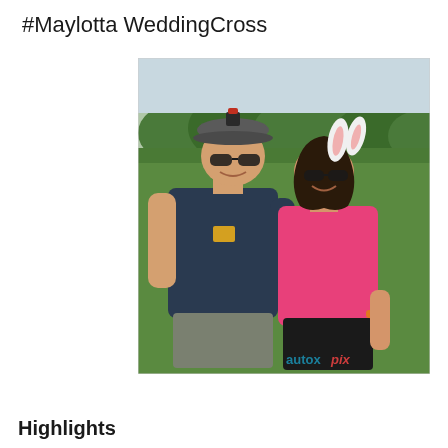#Maylotta WeddingCross
[Figure (photo): A couple posing outdoors on a grassy field. The man is wearing a dark navy t-shirt, grey shorts, sunglasses, and a cap. The woman is wearing a pink tank top, black pants, and sunglasses. Both are smiling. A small toy figurine sits on the man's cap. The woman appears to be wearing white bunny ears. The photo has an 'autoxpix' watermark in the bottom right corner.]
Highlights